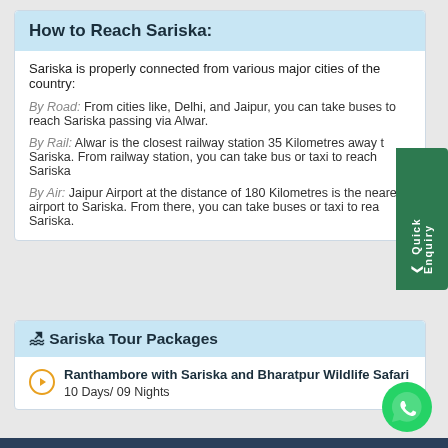How to Reach Sariska:
Sariska is properly connected from various major cities of the country:
By Road: From cities like, Delhi, and Jaipur, you can take buses to reach Sariska passing via Alwar.
By Rail: Alwar is the closest railway station 35 Kilometres away to Sariska. From railway station, you can take bus or taxi to reach Sariska.
By Air: Jaipur Airport at the distance of 180 Kilometres is the nearest airport to Sariska. From there, you can take buses or taxi to reach Sariska.
🏖 Sariska Tour Packages
Ranthambore with Sariska and Bharatpur Wildlife Safari
10 Days/ 09 Nights